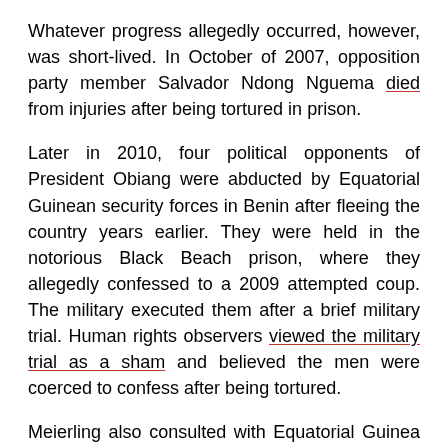Whatever progress allegedly occurred, however, was short-lived. In October of 2007, opposition party member Salvador Ndong Nguema died from injuries after being tortured in prison.
Later in 2010, four political opponents of President Obiang were abducted by Equatorial Guinean security forces in Benin after fleeing the country years earlier. They were held in the notorious Black Beach prison, where they allegedly confessed to a 2009 attempted coup. The military executed them after a brief military trial. Human rights observers viewed the military trial as a sham and believed the men were coerced to confess after being tortured.
Meierling also consulted with Equatorial Guinea on the development of its oil industry. In 2008, he wrote a press release for the government highlighting a trip